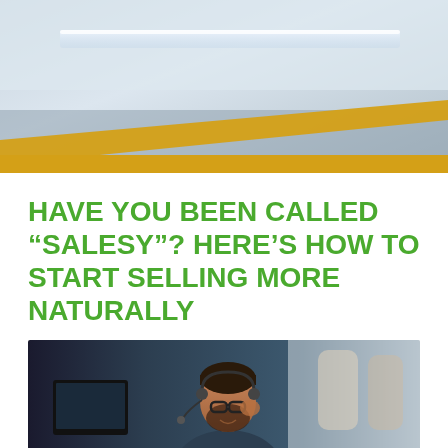[Figure (photo): Top hero image showing an office ceiling with fluorescent lighting and a diagonal gold/yellow stripe accent]
HAVE YOU BEEN CALLED “SALESY”? HERE’S HOW TO START SELLING MORE NATURALLY
By Leadership Resources   04/10/2020
[Figure (photo): A man wearing glasses and a headset microphone in a call center or office environment, with colleagues blurred in the background]